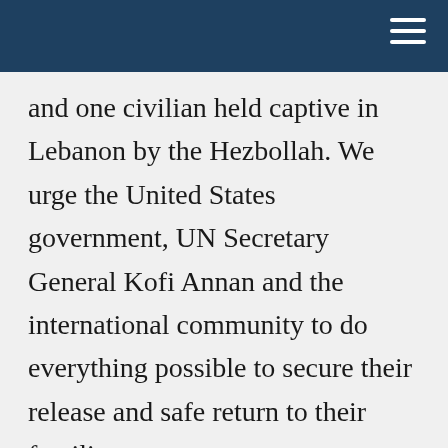and one civilian held captive in Lebanon by the Hezbollah. We urge the United States government, UN Secretary General Kofi Annan and the international community to do everything possible to secure their release and safe return to their families.
American Jews will continue to closely follow and engage one another and others on these